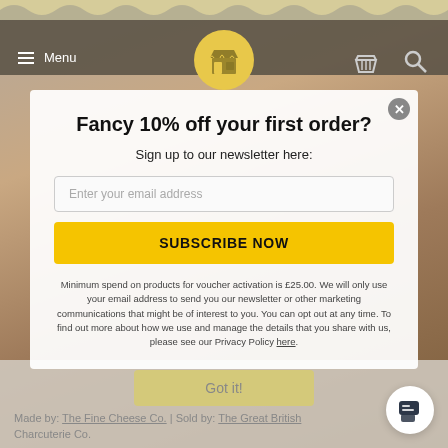Menu
Fancy 10% off your first order?
Sign up to our newsletter here:
Enter your email address
SUBSCRIBE NOW
Minimum spend on products for voucher activation is £25.00. We will only use your email address to send you our newsletter or other marketing communications that might be of interest to you. You can opt out at any time. To find out more about how we use and manage the details that you share with us, please see our Privacy Policy here.
Got it!
Made by: The Fine Cheese Co. | Sold by: The Great British Charcuterie Co.